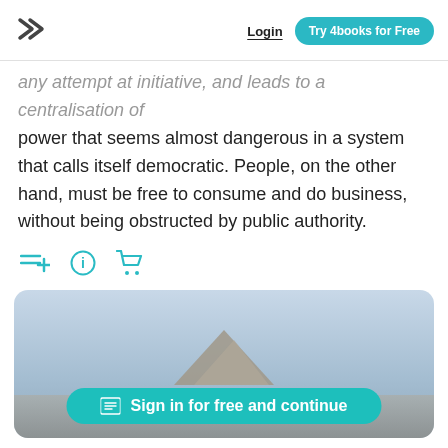Login | Try 4books for Free
any attempt at initiative, and leads to a centralisation of power that seems almost dangerous in a system that calls itself democratic. People, on the other hand, must be free to consume and do business, without being obstructed by public authority.
[Figure (screenshot): A blurred mountain/rock scene with a teal 'Sign in for free and continue' button overlaid at the bottom]
Sign in for free and continue